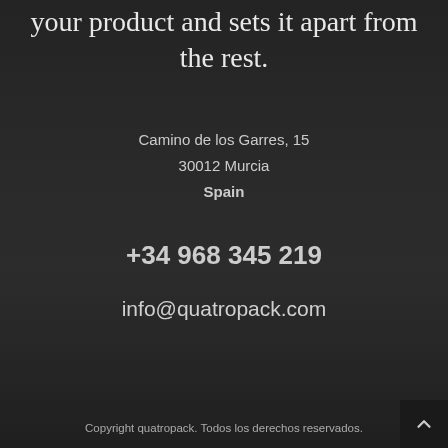your product and sets it apart from the rest.
Camino de los Garres, 15
30012 Murcia
Spain
+34 968 345 219
info@quatropack.com
Copyright quatropack. Todos los derechos reservados.